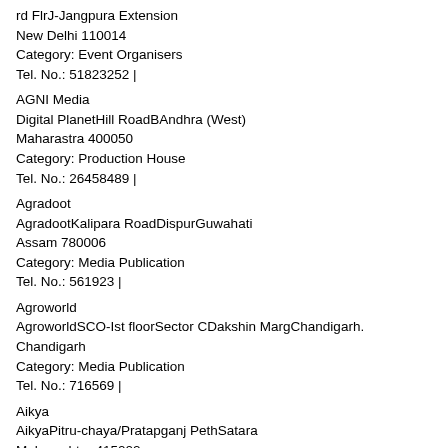rd FlrJ-Jangpura Extension
New Delhi 110014
Category: Event Organisers
Tel. No.: 51823252 |
AGNI Media
Digital PlanetHill RoadBAndhra (West)
Maharastra 400050
Category: Production House
Tel. No.: 26458489 |
Agradoot
AgradootKalipara RoadDispurGuwahati
Assam 780006
Category: Media Publication
Tel. No.: 561923 |
Agroworld
AgroworldSCO-Ist floorSector CDakshin MargChandigarh.
Chandigarh
Category: Media Publication
Tel. No.: 716569 |
Aikya
AikyaPitru-chaya/Pratapganj PethSatara
Maharashtra 415002
Category: Media Publication
Tel. No.: 82371 | http://www.dainikaikya.com
Aims and Aspirations
Hemkunt ChambersNehru Place